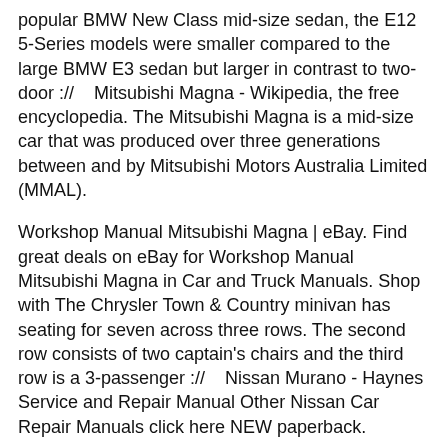popular BMW New Class mid-size sedan, the E12 5-Series models were smaller compared to the large BMW E3 sedan but larger in contrast to two-door ://    Mitsubishi Magna - Wikipedia, the free encyclopedia. The Mitsubishi Magna is a mid-size car that was produced over three generations between and by Mitsubishi Motors Australia Limited (MMAL).
Workshop Manual Mitsubishi Magna | eBay. Find great deals on eBay for Workshop Manual Mitsubishi Magna in Car and Truck Manuals. Shop with The Chrysler Town & Country minivan has seating for seven across three rows. The second row consists of two captain's chairs and the third row is a 3-passenger ://    Nissan Murano - Haynes Service and Repair Manual Other Nissan Car Repair Manuals click here NEW paperback.
USA manual Nissan Murano - Haynes Owners Service & Repair Manual covers Crossover models with litre V6 engines equipped with sequential multi-port electronic fuel injection is US repair manual covering the original "Z50" Nissan Murano 2 days ago   A workshop manual for the operation,